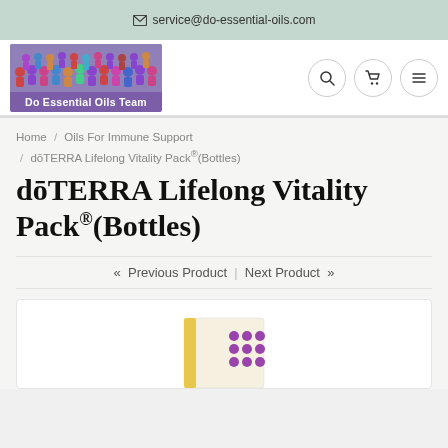service@do-essential-oils.com
[Figure (logo): Do Essential Oils Team logo with group photo and purple banner]
Home / Oils For Immune Support / dōTERRA Lifelong Vitality Pack®(Bottles)
dōTERRA Lifelong Vitality Pack®(Bottles)
« Previous Product | Next Product »
[Figure (photo): Product image of dōTERRA Lifelong Vitality Pack bottles partially visible at bottom]